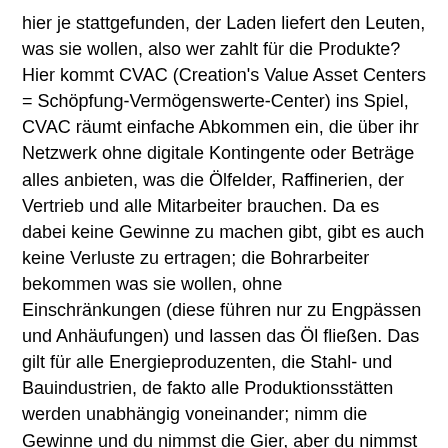hier je stattgefunden, der Laden liefert den Leuten, was sie wollen, also wer zahlt für die Produkte? Hier kommt CVAC (Creation's Value Asset Centers = Schöpfung-Vermögenswerte-Center) ins Spiel, CVAC räumt einfache Abkommen ein, die über ihr Netzwerk ohne digitale Kontingente oder Beträge alles anbieten, was die Ölfelder, Raffinerien, der Vertrieb und alle Mitarbeiter brauchen. Da es dabei keine Gewinne zu machen gibt, gibt es auch keine Verluste zu ertragen; die Bohrarbeiter bekommen was sie wollen, ohne Einschränkungen (diese führen nur zu Engpässen und Anhäufungen) und lassen das Öl fließen. Das gilt für alle Energieproduzenten, die Stahl- und Bauindustrien, de fakto alle Produktionsstätten werden unabhängig voneinander; nimm die Gewinne und du nimmst die Gier, aber du nimmst nicht die Innovation und Qualität der Jobs.
Lass uns zum Beispiel sagen, dass ich eine Fabrik besitze, die Dinge aus Stahl herstellt, d.h. ich brauche Stahl, also kontaktiere ich die Stahlhalter und bestelle drei Platten Stahl für einen Job. Ich muss nichts anderes als meine Adresse angeben, damit ich meine Bestellung auch bekomme.